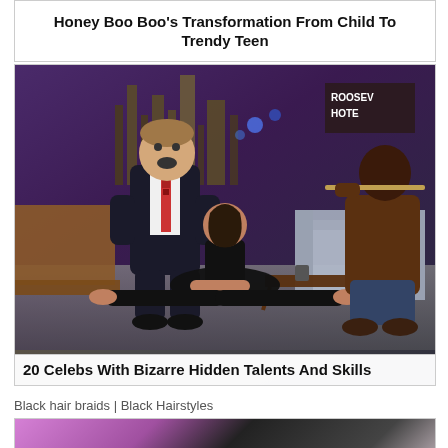Honey Boo Boo's Transformation From Child To Trendy Teen
[Figure (photo): TV talk show scene: host in suit leaning forward, woman doing splits on floor in black dress, man sitting in chair playing flute, city skyline backdrop with purple lighting, Roosevelt Hotel sign visible]
20 Celebs With Bizarre Hidden Talents And Skills
Black hair braids | Black Hairstyles
[Figure (photo): Partial view of black braided hairstyle on purple background]